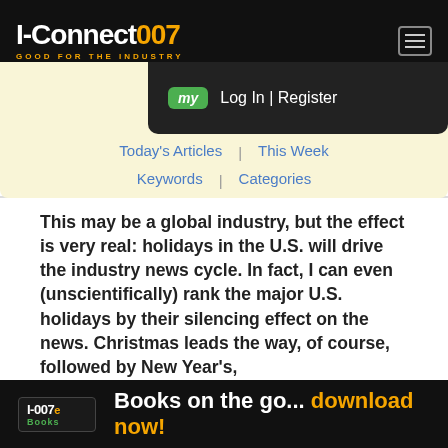I-Connect007 | GOOD FOR THE INDUSTRY
Today's Articles | This Week | Keywords | Categories | Log In | Register
This may be a global industry, but the effect is very real: holidays in the U.S. will drive the industry news cycle. In fact, I can even (unscientifically) rank the major U.S. holidays by their silencing effect on the news. Christmas leads the way, of course, followed by New Year's, Thanksgiving...
I-007e Books | Books on the go... download now!